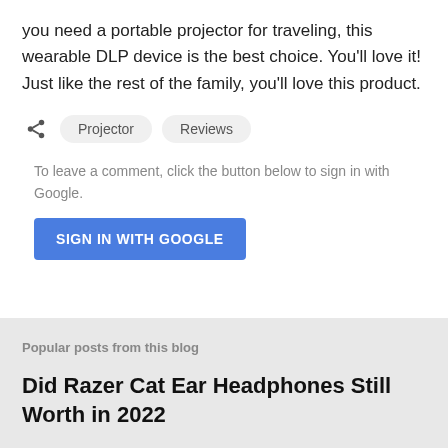you need a portable projector for traveling, this wearable DLP device is the best choice. You'll love it! Just like the rest of the family, you'll love this product.
Projector   Reviews
To leave a comment, click the button below to sign in with Google.
SIGN IN WITH GOOGLE
Popular posts from this blog
Did Razer Cat Ear Headphones Still Worth in 2022